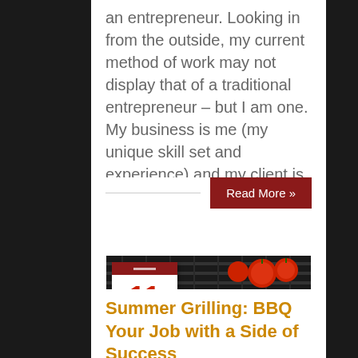an entrepreneur. Looking in from the outside, my current method of work may not display that of a traditional entrepreneur – but I am one. My business is me (my unique skill set and experience) and my client is my employer. Unlike some, my experience [...]
Read More »
[Figure (photo): BBQ grill with steaks and tomatoes cooking on grill grates, with a date badge overlay showing 11 Jul]
Summer Grilling: BBQ Your Job with a Side of Success